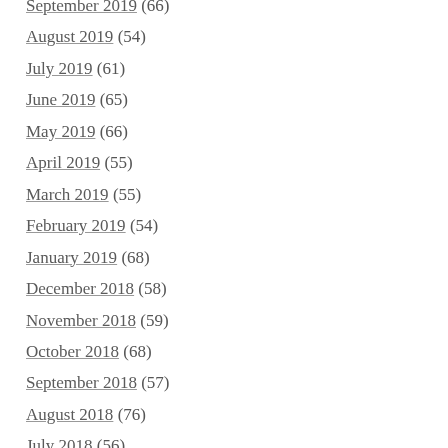September 2019 (66)
August 2019 (54)
July 2019 (61)
June 2019 (65)
May 2019 (66)
April 2019 (55)
March 2019 (55)
February 2019 (54)
January 2019 (68)
December 2018 (58)
November 2018 (59)
October 2018 (68)
September 2018 (57)
August 2018 (76)
July 2018 (56)
June 2018 (68)
May 2018 (67)
April 2018 (68)
March 2018 (76)